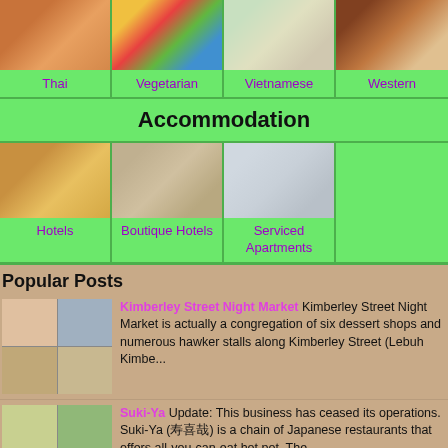[Figure (infographic): Grid of 4 food category images: Thai (curry), Vegetarian (produce), Vietnamese (spring rolls), Western (steak)]
Thai
Vegetarian
Vietnamese
Western
Accommodation
[Figure (infographic): Grid of 3 accommodation type images: Hotels (hotel bell), Boutique Hotels (bedroom), Serviced Apartments (kitchen/dining)]
Hotels
Boutique Hotels
Serviced Apartments
Popular Posts
Kimberley Street Night Market Kimberley Street Night Market is actually a congregation of six dessert shops and numerous hawker stalls along Kimberley Street (Lebuh Kimbe...
Suki-Ya Update: This business has ceased its operations. Suki-Ya (寿喜哉) is a chain of Japanese restaurants that offers all-you-can-eat hot pot. The...
...